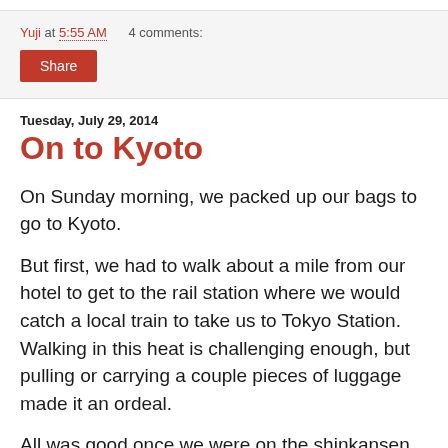Yuji at 5:55 AM    4 comments:
Share
Tuesday, July 29, 2014
On to Kyoto
On Sunday morning, we packed up our bags to go to Kyoto.
But first, we had to walk about a mile from our hotel to get to the rail station where we would catch a local train to take us to Tokyo Station. Walking in this heat is challenging enough, but pulling or carrying a couple pieces of luggage made it an ordeal.
All was good once we were on the shinkansen (bullet train) that would take us to Kyoto in under three hours.